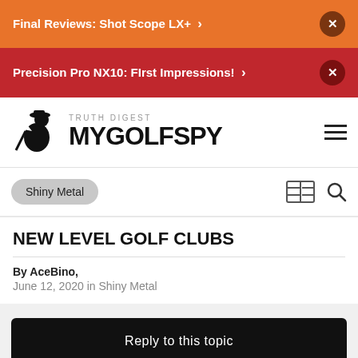Final Reviews: Shot Scope LX+ >
Precision Pro NX10: First Impressions! >
[Figure (logo): MyGolfSpy Truth Digest logo with stylized golfer icon]
Shiny Metal
NEW LEVEL GOLF CLUBS
By AceBino, June 12, 2020 in Shiny Metal
Reply to this topic